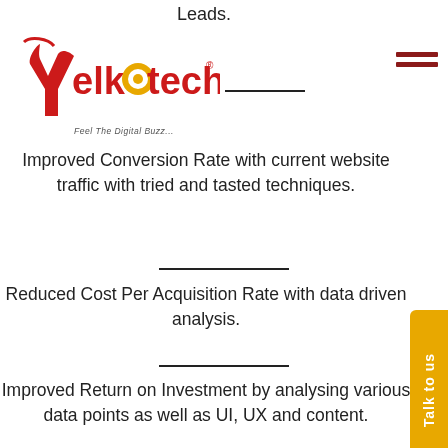Leads.
[Figure (logo): Yelkotech logo with red and gold lettering and tagline 'Feel The Digital Buzz...']
Improved Conversion Rate with current website traffic with tried and tasted techniques.
Reduced Cost Per Acquisition Rate with data driven analysis.
Improved Return on Investment by analysing various data points as well as UI, UX and content.